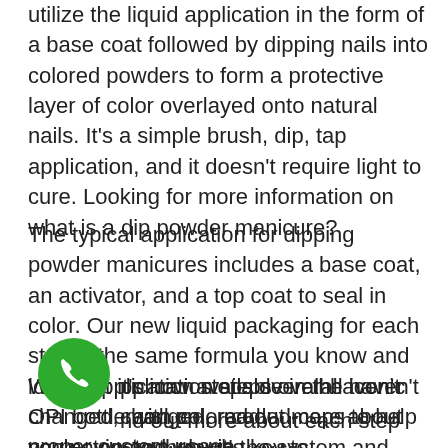utilize the liquid application in the form of a base coat followed by dipping nails into colored powders to form a protective layer of color overlayed onto natural nails. It's a simple brush, dip, tap application, and it doesn't require light to cure. Looking for more information on what is a dip powder manicure?
The typical application for dipping powder manicures includes a base coat, an activator, and a top coat to seal in color. Our new liquid packaging for each step is the same formula you know and love, but it's now available in the iconic OPI bottle with color coded-caps to help you navigate through the system and provide a clearer regimen for your OPI Powder Perfection service applications.
While application steps overall haven't changed, read on and find out more about each step and why it's key to proper custom usage...
[Figure (other): Green circular phone/call button icon in the bottom-left area of the page]